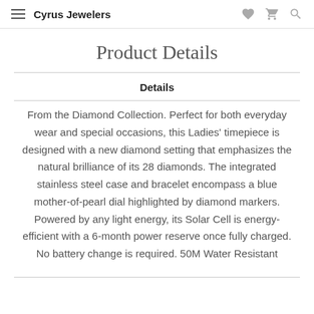Cyrus Jewelers
Product Details
Details
From the Diamond Collection. Perfect for both everyday wear and special occasions, this Ladies' timepiece is designed with a new diamond setting that emphasizes the natural brilliance of its 28 diamonds. The integrated stainless steel case and bracelet encompass a blue mother-of-pearl dial highlighted by diamond markers. Powered by any light energy, its Solar Cell is energy-efficient with a 6-month power reserve once fully charged. No battery change is required. 50M Water Resistant